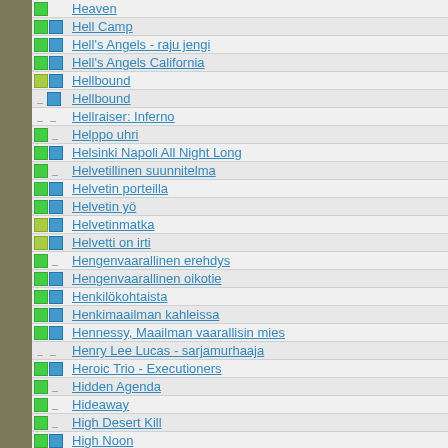Heaven
Hell Camp
Hell's Angels - raju jengi
Hell's Angels California
Hellbound
Hellbound
Hellraiser: Inferno
Helppo uhri
Helsinki Napoli All Night Long
Helvetillinen suunnitelma
Helvetin porteilla
Helvetin yö
Helvetinmatka
Helvetti on irti
Hengenvaarallinen erehdys
Hengenvaarallinen oikotie
Henkilökohtaista
Henkimaailman kahleissa
Hennessy, Maailman vaarallisin mies
Henry Lee Lucas - sarjamurhaaja
Heroic Trio - Executioners
Hidden Agenda
Hideaway
High Desert Kill
High Noon
High Spirits
Higher Learning - Elämän kova koulu
Hiipivä kauhu